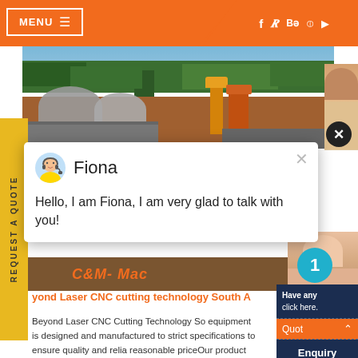MENU   ☰    f  t  Be  ⊕  ▶
[Figure (photo): Industrial facility with aggregate piles, a yellow silo, and palm trees in the background under a blue sky]
[Figure (photo): Partial view of a person (customer support agent) on the right side]
[Figure (screenshot): Chat popup with avatar of Fiona (customer support agent), showing message: Hello, I am Fiona, I am very glad to talk with you!]
[Figure (photo): Bottom banner showing C&M Mac text in orange italic on brown background]
yond Laser CNC cutting technology South A
Beyond Laser CNC Cutting Technology So equipment is designed and manufactured to strict specifications to ensure quality and relia reasonable priceOur product range includes b
Have any   click here.
Quot
Enquiry
drobijkalm